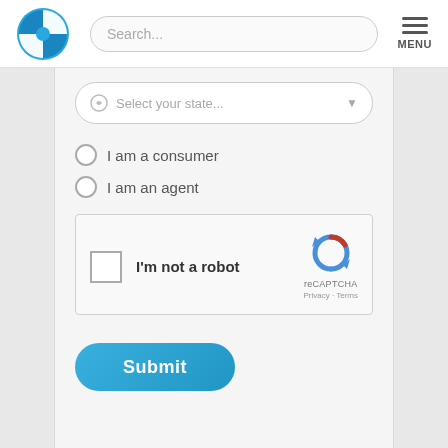[Figure (logo): Blue circular logo with white cross/plus symbol divided into quadrants]
Search...
MENU
Select your state...
I am a consumer
I am an agent
[Figure (other): reCAPTCHA widget with checkbox, I'm not a robot text, and reCAPTCHA logo with Privacy and Terms links]
Submit